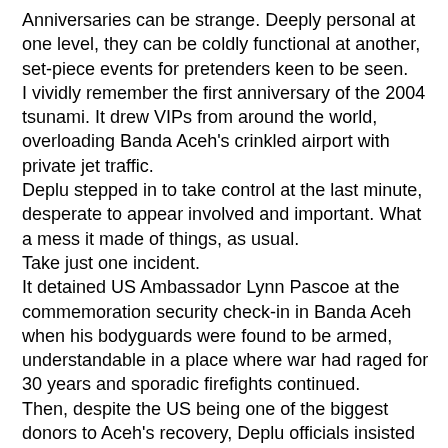Anniversaries can be strange. Deeply personal at one level, they can be coldly functional at another, set-piece events for pretenders keen to be seen.
I vividly remember the first anniversary of the 2004 tsunami. It drew VIPs from around the world, overloading Banda Aceh's crinkled airport with private jet traffic.
Deplu stepped in to take control at the last minute, desperate to appear involved and important. What a mess it made of things, as usual.
Take just one incident.
It detained US Ambassador Lynn Pascoe at the commemoration security check-in in Banda Aceh when his bodyguards were found to be armed, understandable in a place where war had raged for 30 years and sporadic firefights continued.
Then, despite the US being one of the biggest donors to Aceh's recovery, Deplu officials insisted Ambassador Pascoe sit way up the back of the large temporary hall we erected for the ceremony, a shining example of discourtesy to a country that had given over $500 million to rebuild Aceh.
And there was more.
A stand-up argument ensued with the responsible Deplu